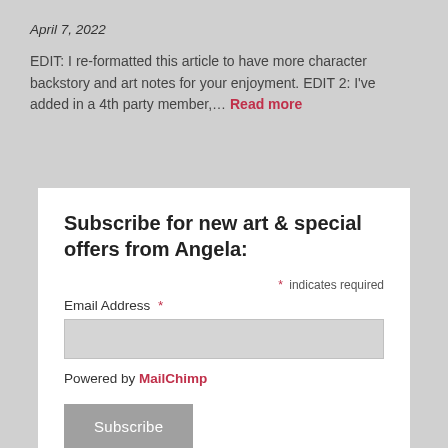April 7, 2022
EDIT: I re-formatted this article to have more character backstory and art notes for your enjoyment. EDIT 2:  I've added in a 4th party member,… Read more
Subscribe for new art & special offers from Angela:
* indicates required
Email Address *
Powered by MailChimp
Subscribe